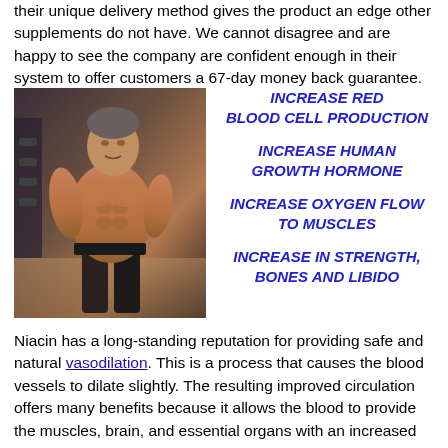their unique delivery method gives the product an edge other supplements do not have. We cannot disagree and are happy to see the company are confident enough in their system to offer customers a 67-day money back guarantee.
[Figure (photo): Muscular bodybuilder man posing in a gym]
INCREASE RED BLOOD CELL PRODUCTION
INCREASE HUMAN GROWTH HORMONE
INCREASE OXYGEN FLOW TO MUSCLES
INCREASE IN STRENGTH, BONES AND LIBIDO
Niacin has a long-standing reputation for providing safe and natural vasodilation. This is a process that causes the blood vessels to dilate slightly. The resulting improved circulation offers many benefits because it allows the blood to provide the muscles, brain, and essential organs with an increased